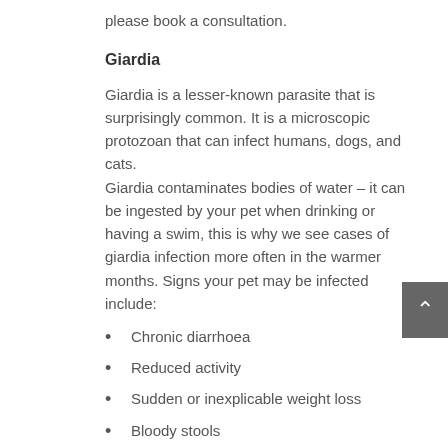please book a consultation.
Giardia
Giardia is a lesser-known parasite that is surprisingly common. It is a microscopic protozoan that can infect humans, dogs, and cats.
Giardia contaminates bodies of water – it can be ingested by your pet when drinking or having a swim, this is why we see cases of giardia infection more often in the warmer months. Signs your pet may be infected include:
Chronic diarrhoea
Reduced activity
Sudden or inexplicable weight loss
Bloody stools
Giardia is not usually life-threatening, but it is important to treat as your pet will feel unwell. Give us a call or book an appointment if you think your pet may be displaying any of these symptoms.